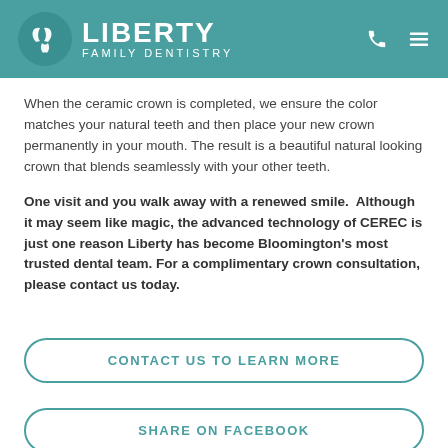Liberty Family Dentistry
When the ceramic crown is completed, we ensure the color matches your natural teeth and then place your new crown permanently in your mouth. The result is a beautiful natural looking crown that blends seamlessly with your other teeth.
One visit and you walk away with a renewed smile. Although it may seem like magic, the advanced technology of CEREC is just one reason Liberty has become Bloomington’s most trusted dental team. For a complimentary crown consultation, please contact us today.
CONTACT US TO LEARN MORE
SHARE ON FACEBOOK